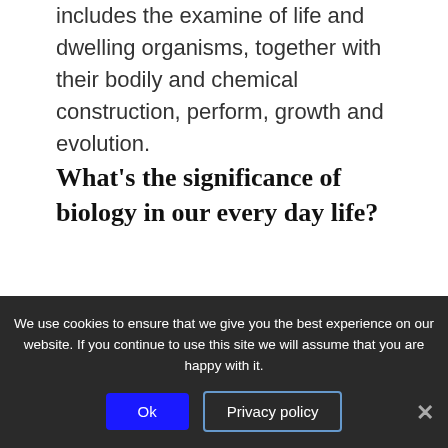includes the examine of life and dwelling organisms, together with their bodily and chemical construction, perform, growth and evolution.
What's the significance of biology in our every day life?
Biology is vital to on a day basis life, as a result
We use cookies to ensure that we give you the best experience on our website. If you continue to use this site we will assume that you are happy with it.